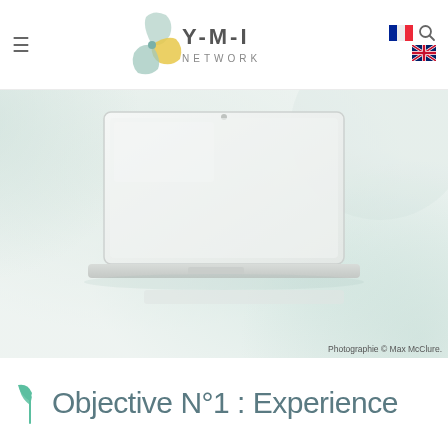Y-M-I NETWORK — navigation header with logo, hamburger menu, French and English flags, and search icon
[Figure (photo): Hero background image showing a laptop on a light mint/grey gradient background with abstract circular shapes. Attribution: Photographie © Max McClure.]
Photographie © Max McClure.
Objective N°1 : Experience